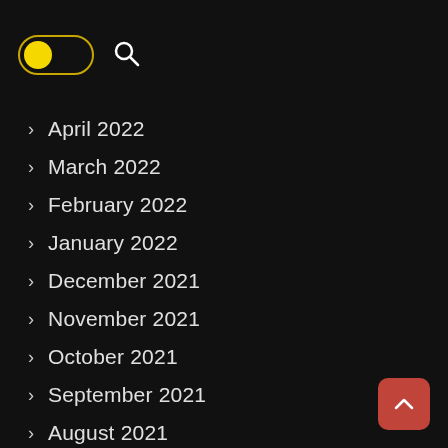[Figure (other): Toggle switch (yellow dot on left, yellow border) and search icon (magnifying glass) on dark header bar]
April 2022
March 2022
February 2022
January 2022
December 2021
November 2021
October 2021
September 2021
August 2021
July 2021
June 2021